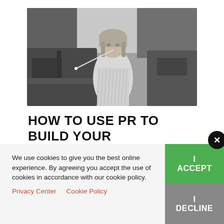[Figure (photo): Black and white vintage photograph of a woman wearing a close-fitting knitted hat, holding a long cigarette holder, standing in front of old automobiles.]
HOW TO USE PR TO BUILD YOUR AUTHOR BRAND
We use cookies to give you the best online experience. By agreeing you accept the use of cookies in accordance with our cookie policy.
Privacy Center   Cookie Policy
I ACCEPT
I DECLINE